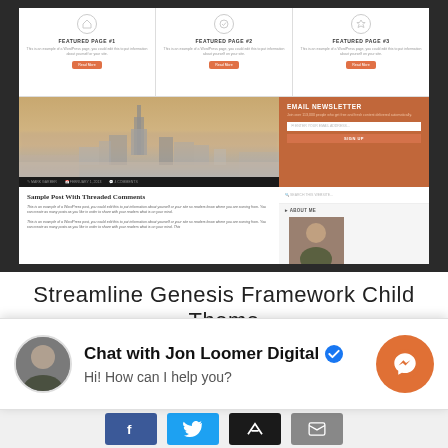[Figure (screenshot): Screenshot of a WordPress website theme called Streamline Genesis Framework Child Theme, showing three featured pages at the top, a blog post with city skyline image, email newsletter sidebar with orange background, search bar, and About Me section with person photo.]
Streamline Genesis Framework Child Theme
[Figure (infographic): Chat widget overlay showing avatar of Jon Loomer, text 'Chat with Jon Loomer Digital' with verified blue checkmark badge, subtitle 'Hi! How can I help you?', and orange Messenger button icon on the right.]